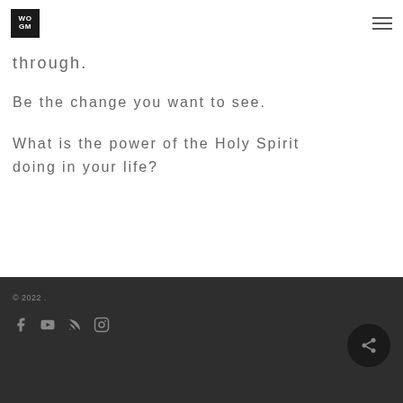WOGM
through.
Be the change you want to see.
What is the power of the Holy Spirit doing in your life?
© 2022 .